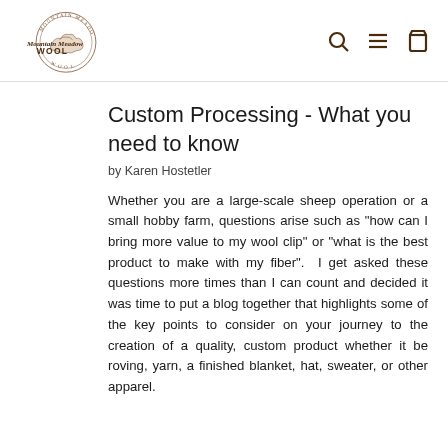[Figure (logo): Mountain Meadow Wool circular logo with script/serif text]
Custom Processing - What you need to know
by Karen Hostetler
Whether you are a large-scale sheep operation or a small hobby farm, questions arise such as "how can I bring more value to my wool clip" or "what is the best product to make with my fiber".  I get asked these questions more times than I can count and decided it was time to put a blog together that highlights some of the key points to consider on your journey to the creation of a quality, custom product whether it be roving, yarn, a finished blanket, hat, sweater, or other apparel.